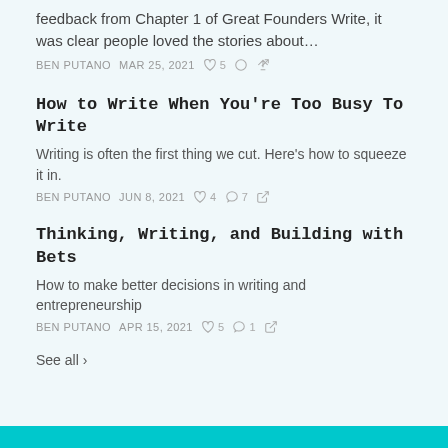feedback from Chapter 1 of Great Founders Write, it was clear people loved the stories about…
BEN PUTANO   MAR 25, 2021   ♡ 5   ○ 7   ↗
How to Write When You're Too Busy To Write
Writing is often the first thing we cut. Here's how to squeeze it in.
BEN PUTANO   JUN 8, 2021   ♡ 4   ○ 7   ↗
Thinking, Writing, and Building with Bets
How to make better decisions in writing and entrepreneurship
BEN PUTANO   APR 15, 2021   ♡ 5   ○ 1   ↗
See all ›